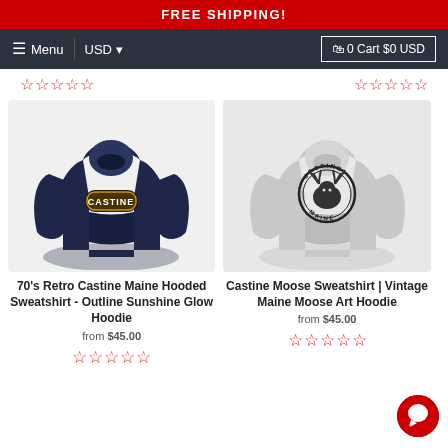FREE SHIPPING!
Menu  USD  0 Cart $0 USD
[Figure (other): Red star rating icons row - two groups of 5 stars each]
[Figure (photo): Navy blue hooded sweatshirt with CASTINE logo badge on chest - 70s retro outline sunshine glow design]
70's Retro Castine Maine Hooded Sweatshirt - Outline Sunshine Glow Hoodie
from $45.00
[Figure (other): 5 red outline star rating icons]
[Figure (photo): Light grey hooded sweatshirt with circular Castine Maine moose stamp art design on chest]
Castine Moose Sweatshirt | Vintage Maine Moose Art Hoodie
from $45.00
[Figure (other): 5 red outline star rating icons]